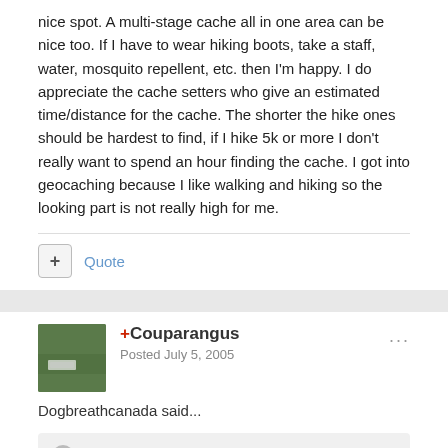nice spot. A multi-stage cache all in one area can be nice too. If I have to wear hiking boots, take a staff, water, mosquito repellent, etc. then I'm happy. I do appreciate the cache setters who give an estimated time/distance for the cache. The shorter the hike ones should be hardest to find, if I hike 5k or more I don't really want to spend an hour finding the cache. I got into geocaching because I like walking and hiking so the looking part is not really high for me.
+ Quote
+Couparangus
Posted July 5, 2005
Dogbreathcanada said...
I think there's a word for that ... rhymes with Peter.